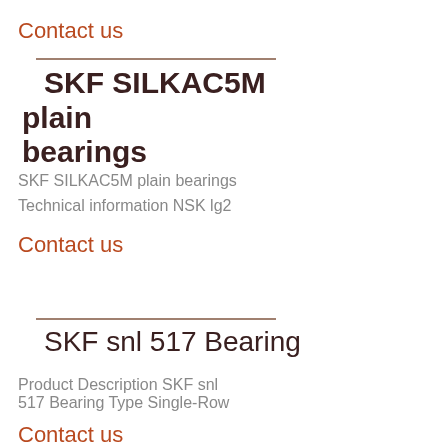Contact us
SKF SILKAC5M plain bearings
SKF SILKAC5M plain bearings
Technical information NSK lg2
Contact us
SKF snl 517 Bearing
Product Description SKF snl 517 Bearing Type Single-Row
Contact us